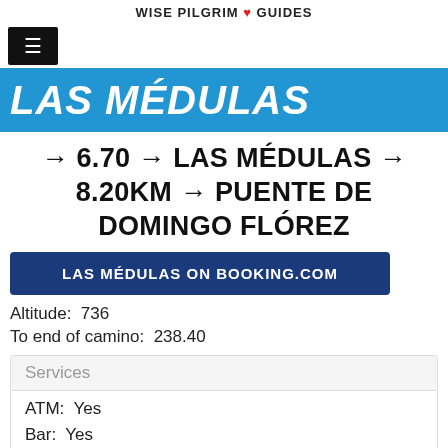WISE PILGRIM ❤ GUIDES
[Figure (other): Hamburger menu button (three lines icon) on black background]
LAS MÉDULAS
→ 6.70 → LAS MÉDULAS → 8.20KM → PUENTE DE DOMINGO FLÓREZ
LAS MÉDULAS ON BOOKING.COM
Altitude: 736
To end of camino: 238.40
| Services |
| --- |
| ATM: Yes |
| Bar: Yes |